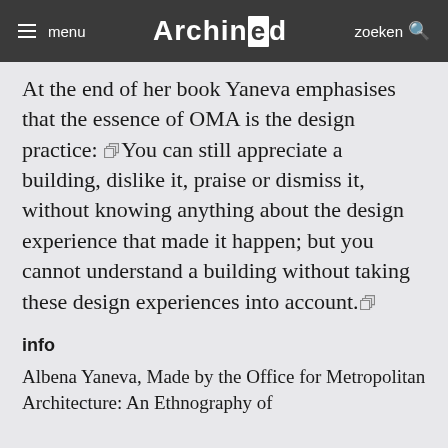menu | Archined | zoeken
At the end of her book Yaneva emphasises that the essence of OMA is the design practice: “You can still appreciate a building, dislike it, praise or dismiss it, without knowing anything about the design experience that made it happen; but you cannot understand a building without taking these design experiences into account.”
info
Albena Yaneva, Made by the Office for Metropolitan Architecture: An Ethnography of